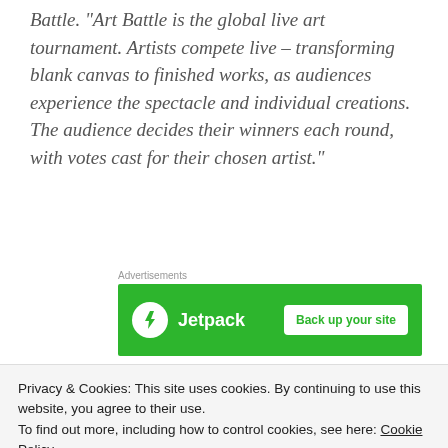Battle. “Art Battle is the global live art tournament. Artists compete live – transforming blank canvas to finished works, as audiences experience the spectacle and individual creations. The audience decides their winners each round, with votes cast for their chosen artist.”
[Figure (other): Jetpack advertisement banner with green background, Jetpack logo and lightning bolt icon on left, 'Back up your site' button on right]
[Figure (photo): Dark toned photograph strip showing warm brown and orange tones, partial view of an art or event scene]
Privacy & Cookies: This site uses cookies. By continuing to use this website, you agree to their use.
To find out more, including how to control cookies, see here: Cookie Policy